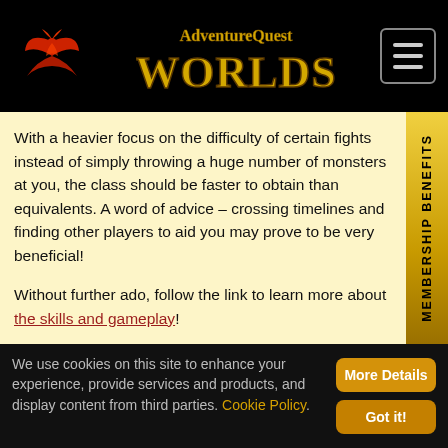AdventureQuest Worlds
With a heavier focus on the difficulty of certain fights instead of simply throwing a huge number of monsters at you, the class should be faster to obtain than equivalents. A word of advice – crossing timelines and finding other players to aid you may prove to be very beneficial!
Without further ado, follow the link to learn more about the skills and gameplay!
Note: this class is intended for experienced heroes and
We use cookies on this site to enhance your experience, provide services and products, and display content from third parties. Cookie Policy.